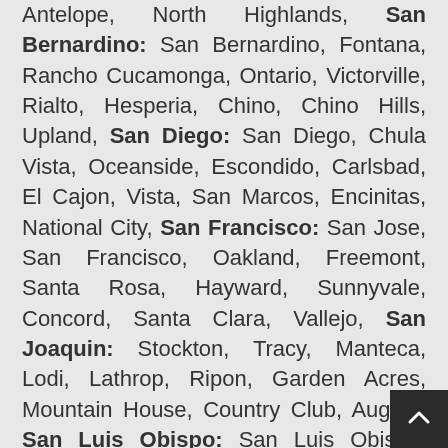Antelope, North Highlands, San Bernardino: San Bernardino, Fontana, Rancho Cucamonga, Ontario, Victorville, Rialto, Hesperia, Chino, Chino Hills, Upland, San Diego: San Diego, Chula Vista, Oceanside, Escondido, Carlsbad, El Cajon, Vista, San Marcos, Encinitas, National City, San Francisco: San Jose, San Francisco, Oakland, Freemont, Santa Rosa, Hayward, Sunnyvale, Concord, Santa Clara, Vallejo, San Joaquin: Stockton, Tracy, Manteca, Lodi, Lathrop, Ripon, Garden Acres, Mountain House, Country Club, August, San Luis Obispo: San Luis Obispo, Paso Robles (El Paso de Robles), Atascadero, Arroyo Grande, Nipomo, Los Osos, Grover Beach, Morro Bay, Templeton, Pismo Beach, San Mateo: Daly City, San Mateo, Redwood City, South San Francisco, San Bruno, Pacifica, Menlo Park, Foster City,